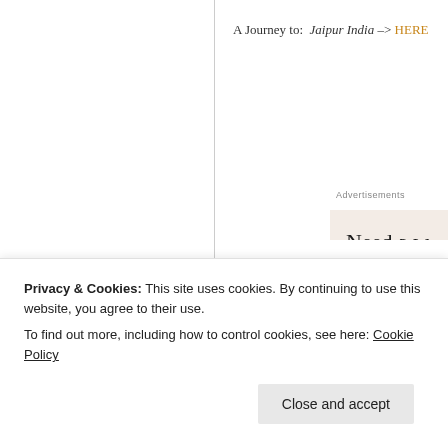A Journey to: Jaipur India -> HERE
Advertisements
Need a w and on a Let us build it f Let's get started
Privacy & Cookies: This site uses cookies. By continuing to use this website, you agree to their use.
To find out more, including how to control cookies, see here: Cookie Policy
Close and accept